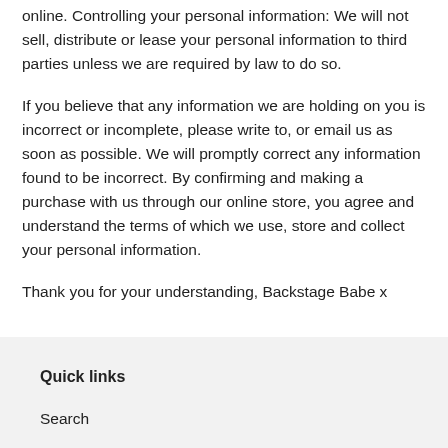online. Controlling your personal information: We will not sell, distribute or lease your personal information to third parties unless we are required by law to do so.
If you believe that any information we are holding on you is incorrect or incomplete, please write to, or email us as soon as possible. We will promptly correct any information found to be incorrect. By confirming and making a purchase with us through our online store, you agree and understand the terms of which we use, store and collect your personal information.
Thank you for your understanding, Backstage Babe x
Quick links
Search